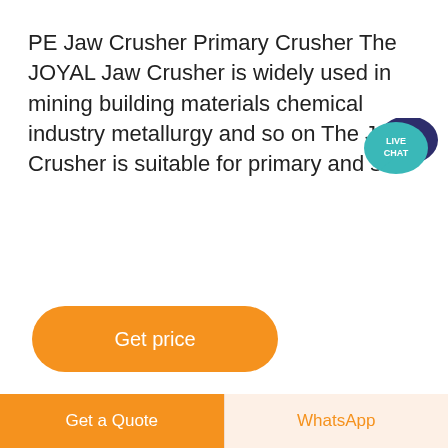PE Jaw Crusher Primary Crusher The JOYAL Jaw Crusher is widely used in mining building materials chemical industry metallurgy and so on The Jaw Crusher is suitable for primary and se
[Figure (infographic): Live chat speech bubble icon — teal/dark blue chat bubbles with 'LIVE CHAT' text inside]
[Figure (other): Orange rounded rectangle button labeled 'Get price']
[Figure (photo): Outdoor photo showing a utility pole or lamp post against a light blue sky, with part of a guitar visible at the right edge. A dark circular scroll-to-top button with an up arrow overlays the image.]
[Figure (other): Bottom action bar with two buttons: orange 'Get a Quote' button on left, and light orange 'WhatsApp' button on right]